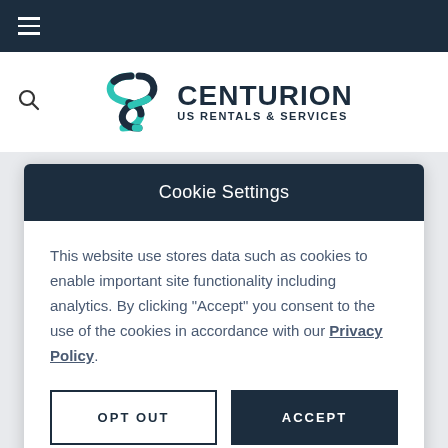Navigation bar with hamburger menu
[Figure (logo): Centurion US Rentals & Services logo with teal and navy interlocked S-shape symbol]
Cookie Settings
This website use stores data such as cookies to enable important site functionality including analytics. By clicking "Accept" you consent to the use of the cookies in accordance with our Privacy Policy.
OPT OUT   ACCEPT
RETURN TO HOMEPAGE